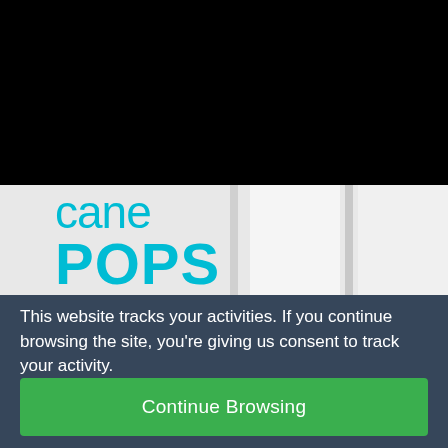[Figure (screenshot): Top black area covering upper portion of page, with partial cyan text 'cane POPS' visible on a light grey background with white vertical panels on right side]
This website tracks your activities. If you continue browsing the site, you're giving us consent to track your activity.
Continue Browsing